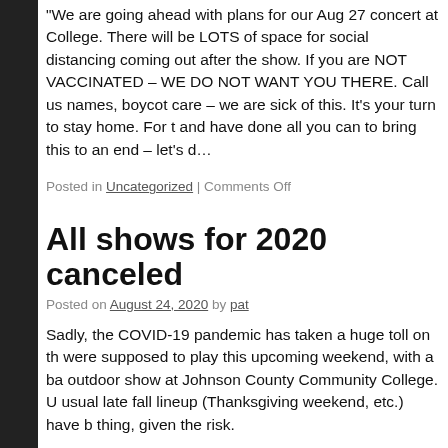“We are going ahead with plans for our Aug 27 concert at College. There will be LOTS of space for social distancing coming out after the show. If you are NOT VACCINATED – WE DO NOT WANT YOU THERE. Call us names, boycott care – we are sick of this. It’s your turn to stay home. For and have done all you can to bring this to an end – let’s d…
Posted in Uncategorized | Comments Off
All shows for 2020 canceled
Posted on August 24, 2020 by pat
Sadly, the COVID-19 pandemic has taken a huge toll on the were supposed to play this upcoming weekend, with a ba outdoor show at Johnson County Community College. Un usual late fall lineup (Thanksgiving weekend, etc.) have b thing, given the risk.